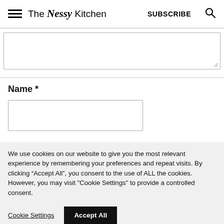The Nessy Kitchen | SUBSCRIBE
Name *
We use cookies on our website to give you the most relevant experience by remembering your preferences and repeat visits. By clicking “Accept All”, you consent to the use of ALL the cookies. However, you may visit "Cookie Settings" to provide a controlled consent.
Cookie Settings | Accept All